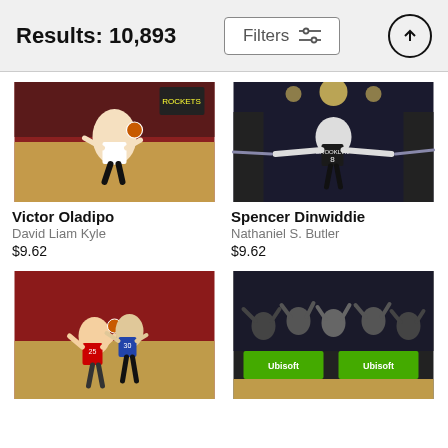Results: 10,893
[Figure (photo): Victor Oladipo basketball player shooting in game]
Victor Oladipo
David Liam Kyle
$9.62
[Figure (photo): Spencer Dinwiddie Brooklyn Nets player arms outstretched greeting fans]
Spencer Dinwiddie
Nathaniel S. Butler
$9.62
[Figure (photo): Basketball players in red and blue uniforms]
[Figure (photo): Crowd celebrating at basketball game with Ubisoft signage]